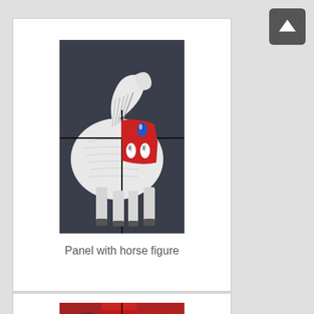[Figure (illustration): Up arrow icon button, white arrow on dark grey rounded square background]
[Figure (photo): Artwork: Panel with horse figure — a white horse silhouette on a dark grey/black background, with a red blanket/saddle featuring teardrop shapes in blue and white. The piece appears to be made of multiple panels.]
Panel with horse figure
[Figure (photo): Second artwork, partially visible at bottom of page — appears to be a red and dark colored artwork, partially cut off.]